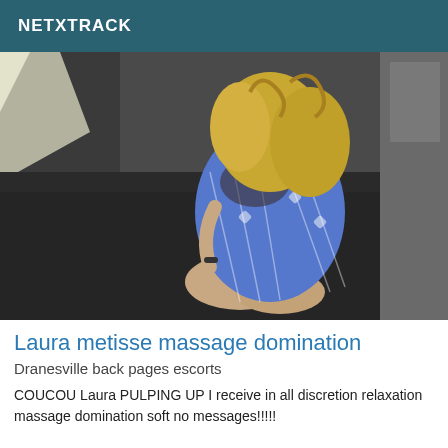NETXTRACK
[Figure (photo): A woman with curly blonde hair wearing a blue and white patterned short dress, seated on a dark sofa, with upper face not visible]
Laura metisse massage domination
Dranesville back pages escorts
COUCOU Laura PULPING UP I receive in all discretion relaxation massage domination soft no messages!!!!!